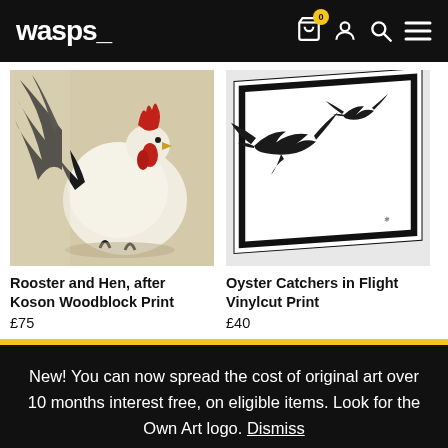wasps_
[Figure (photo): Painting of a rooster and hen in black and white with red accents, after Koson style woodblock print]
[Figure (photo): Vinylcut print of oyster catchers in flight, black silhouettes on white paper with black border frame]
Rooster and Hen, after Koson Woodblock Print
£75
Oyster Catchers in Flight Vinylcut Print
£40
New! You can now spread the cost of original art over 10 months interest free, on eligible items. Look for the Own Art logo. Dismiss